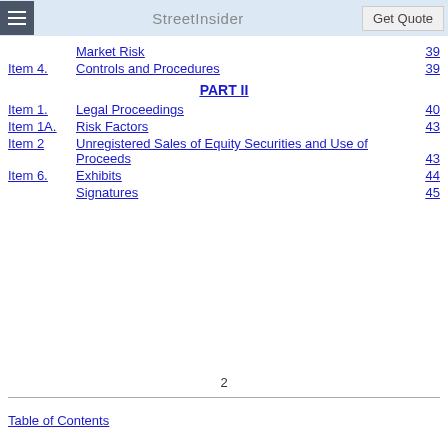StreetInsider  Get Quote
Market Risk  39
Item 4.  Controls and Procedures  39
PART II
Item 1.  Legal Proceedings  40
Item 1A.  Risk Factors  43
Item 2  Unregistered Sales of Equity Securities and Use of Proceeds  43
Item 6.  Exhibits  44
Signatures  45
2
Table of Contents